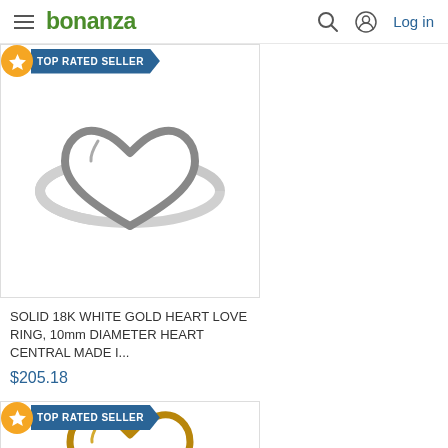bonanza — Log in
[Figure (photo): Silver heart outline ring on white background, top rated seller badge overlay]
SOLID 18K WHITE GOLD HEART LOVE RING, 10mm DIAMETER HEART CENTRAL MADE I...
$205.18
[Figure (photo): Gold heart ring partially visible, top rated seller badge overlay]